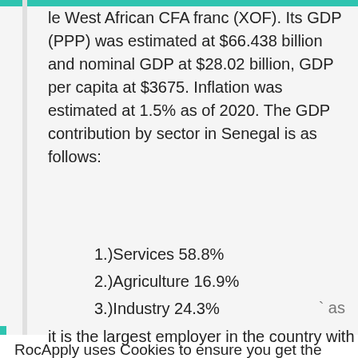le West African CFA franc (XOF). Its GDP (PPP) was estimated at $66.438 billion and nominal GDP at $28.02 billion, GDP per capita at $3675. Inflation was estimated at 1.5% as of 2020. The GDP contribution by sector in Senegal is as follows:
1.)Services 58.8%
2.)Agriculture 16.9%
3.)Industry 24.3%
RocApply uses Cookies to ensure you get the best experience on our Website and over the Web.  Data Privacy
Got it!   Alright!
as it is the largest employer in the country with